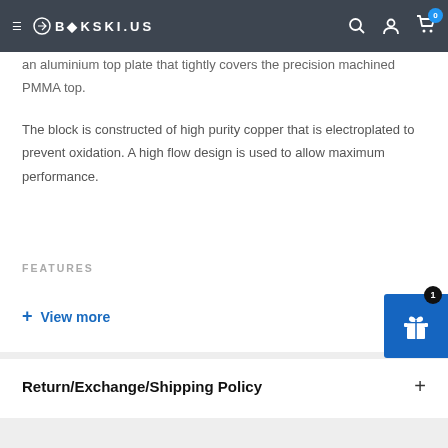BIKSKI.US - navigation bar with hamburger menu, logo, search, account, and cart icons
an aluminium top plate that tightly covers the precision machined PMMA top.
The block is constructed of high purity copper that is electroplated to prevent oxidation. A high flow design is used to allow maximum performance.
FEATURES
+ View more
Return/Exchange/Shipping Policy